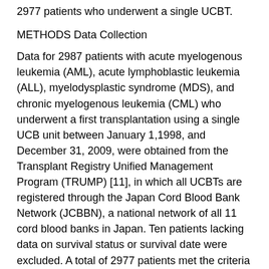2977 patients who underwent a single UCBT.
METHODS Data Collection
Data for 2987 patients with acute myelogenous leukemia (AML), acute lymphoblastic leukemia (ALL), myelodysplastic syndrome (MDS), and chronic myelogenous leukemia (CML) who underwent a first transplantation using a single UCB unit between January 1,1998, and December 31, 2009, were obtained from the Transplant Registry Unified Management Program (TRUMP) [11], in which all UCBTs are registered through the Japan Cord Blood Bank Network (JCBBN), a national network of all 11 cord blood banks in Japan. Ten patients lacking data on survival status or survival date were excluded. A total of 2977 patients met the criteria for study inclusion. The study design was approved by the TRUMP Data Management Committee and the Institutional Review Board of Saitama Medical Center, Jichi Medical University, where this study was organized.
Histocompatibility
Histocompatibility data for the HLA-A, -B, and -DR loci